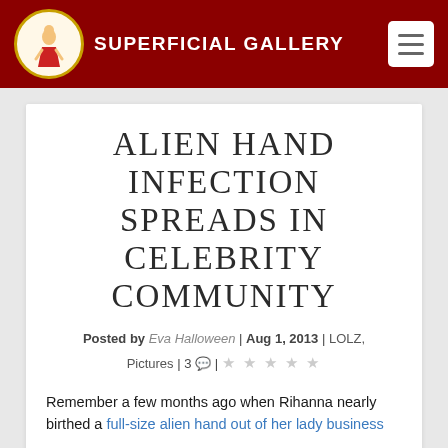SUPERFICIAL GALLERY
ALIEN HAND INFECTION SPREADS IN CELEBRITY COMMUNITY
Posted by Eva Halloween | Aug 1, 2013 | LOLZ, Pictures | 3 💬 | ★★★★★
Remember a few months ago when Rihanna nearly birthed a full-size alien hand out of her lady business